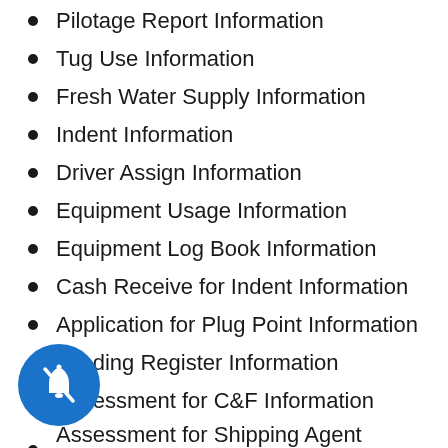Pilotage Report Information
Tug Use Information
Fresh Water Supply Information
Indent Information
Driver Assign Information
Equipment Usage Information
Equipment Log Book Information
Cash Receive for Indent Information
Application for Plug Point Information
Landing Register Information
Assessment for C&F Information
Assessment for Shipping Agent Information
Berthing Bill Information
Port Charge Information
Stuffing Bill Information
Boat Fuel Filling